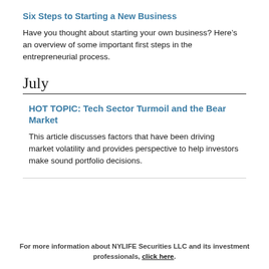Six Steps to Starting a New Business
Have you thought about starting your own business? Here’s an overview of some important first steps in the entrepreneurial process.
July
HOT TOPIC: Tech Sector Turmoil and the Bear Market
This article discusses factors that have been driving market volatility and provides perspective to help investors make sound portfolio decisions.
For more information about NYLIFE Securities LLC and its investment professionals, click here.